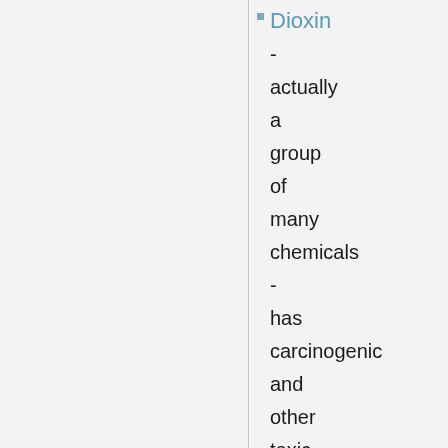Dioxin - actually a group of many chemicals - has carcinogenic and other toxic effects.